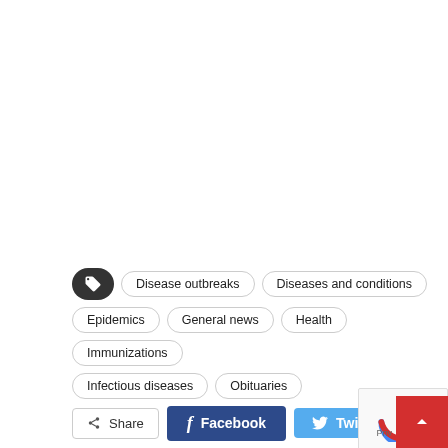Disease outbreaks
Diseases and conditions
Epidemics
General news
Health
Immunizations
Infectious diseases
Obituaries
0
Share   Facebook   Twitter